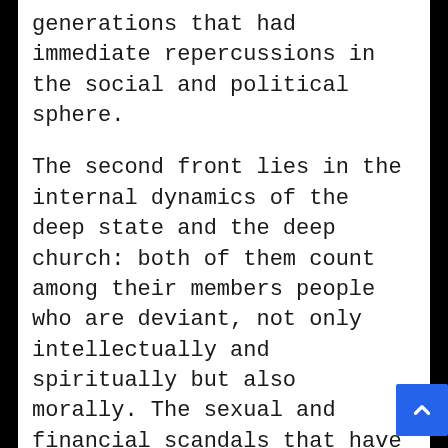generations that had immediate repercussions in the social and political sphere.
The second front lies in the internal dynamics of the deep state and the deep church: both of them count among their members people who are deviant, not only intellectually and spiritually but also morally. The sexual and financial scandals that have involved very high members of both politics and institutions and also of the Catholic hierarchy demonstrate that the corruption and vice are on